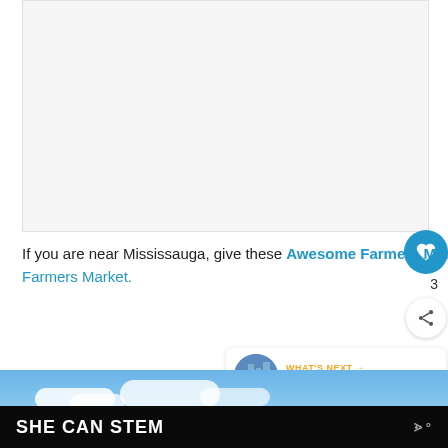[Figure (other): Large blank/light gray image area at top of page, likely a photo placeholder]
If you are near Mississauga, give these Awesome Farmers Markets in Mississauga and Area a visit, or maybe check out Brampton's Farmers Market.
[Figure (photo): Partial blue sky with white clouds, bottom portion of a photo]
SHE CAN STEM